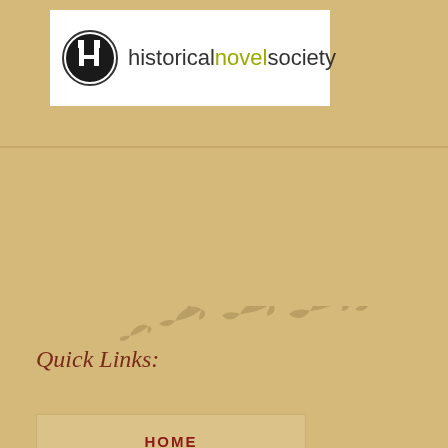[Figure (logo): Historical Novel Society logo: circular black-and-white icon with letter H and castle tower, followed by text 'historicalnovelsociety' with 'novel' in yellow-green]
Quick Links:
HOME
THE WEDDING SHROUD
CALL TO JUNO